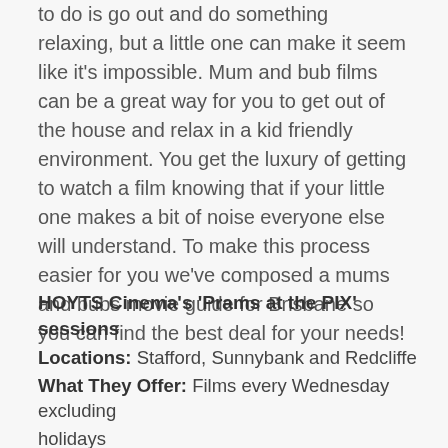to do is go out and do something relaxing, but a little one can make it seem like it's impossible. Mum and bub films can be a great way for you to get out of the house and relax in a kid friendly environment. You get the luxury of getting to watch a film knowing that if your little one makes a bit of noise everyone else will understand. To make this process easier for you we've composed a mums and bubs movie guide for Brisbane so you can find the best deal for your needs!
HOYTS Cinema's 'Prams at the PIX' sessions
Locations: Stafford, Sunnybank and Redcliffe
What They Offer: Films every Wednesday excluding holidays
Price: ...